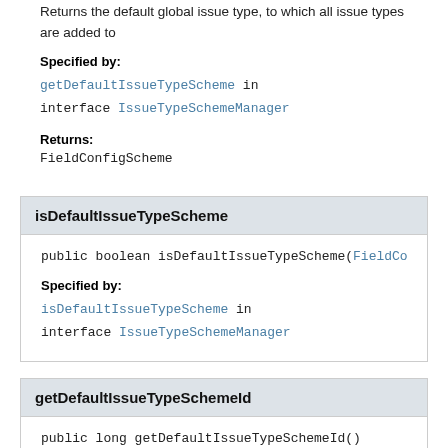Returns the default global issue type, to which all issue types are added to
Specified by:
getDefaultIssueTypeScheme in interface IssueTypeSchemeManager
Returns:
FieldConfigScheme
isDefaultIssueTypeScheme
public boolean isDefaultIssueTypeScheme(FieldCont
Specified by:
isDefaultIssueTypeScheme in interface IssueTypeSchemeManager
getDefaultIssueTypeSchemeId
public long getDefaultIssueTypeSchemeId()